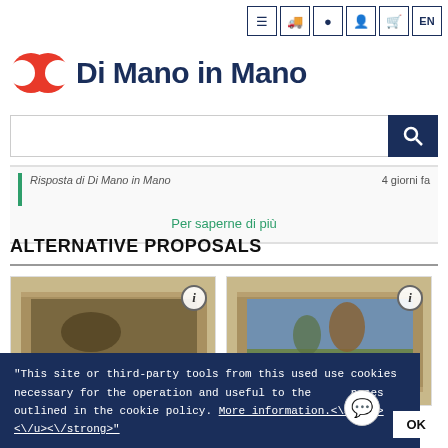[Figure (screenshot): Di Mano in Mano website header with navigation icons (menu, truck, location, user, cart, EN language selector)]
Di Mano in Mano
[Figure (screenshot): Search bar with dark blue search button]
Risposta di Di Mano in Mano — 4 giorni fa
Per saperne di più
ALTERNATIVE PROPOSALS
[Figure (photo): Painting artwork card with info (i) badge — first product card]
[Figure (photo): Painting artwork card with info (i) badge — second product card]
"This site or third-party tools from this used use cookies necessary for the operation and useful to the purposes outlined in the cookie policy. More information.<\/u><\/strong>"